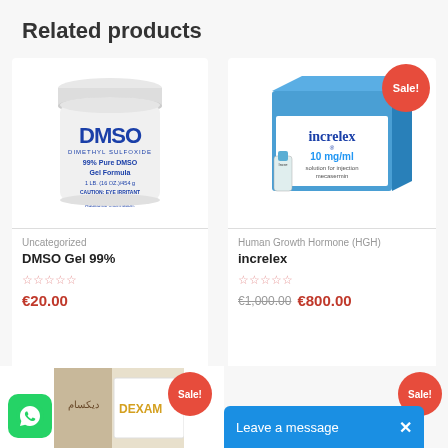Related products
[Figure (photo): White jar of DMSO Dimethyl Sulfoxide 99% Pure DMSO Gel Formula, 1 LB (16 OZ.)/454g]
Uncategorized
DMSO Gel 99%
€20.00
[Figure (photo): Increlex 10 mg/ml solution for injection mecasermin box with vial, with red Sale! badge]
Human Growth Hormone (HGH)
increlex
€1,000.00 €800.00
[Figure (photo): Partial view of dexamethasone product with Arabic text, Sale! badge visible, WhatsApp icon bottom left]
[Figure (screenshot): Leave a message chat bar in blue with X close button, and partial Sale! badge top right]